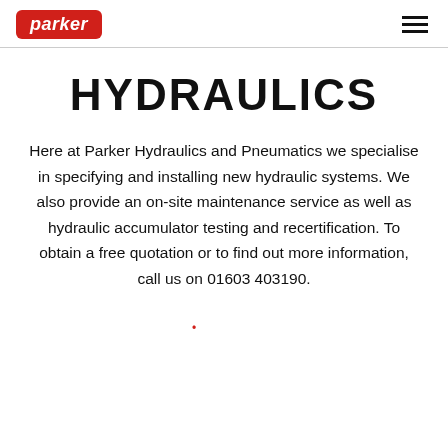parker [logo] | hamburger menu
HYDRAULICS
Here at Parker Hydraulics and Pneumatics we specialise in specifying and installing new hydraulic systems. We also provide an on-site maintenance service as well as hydraulic accumulator testing and recertification. To obtain a free quotation or to find out more information, call us on 01603 403190.
•